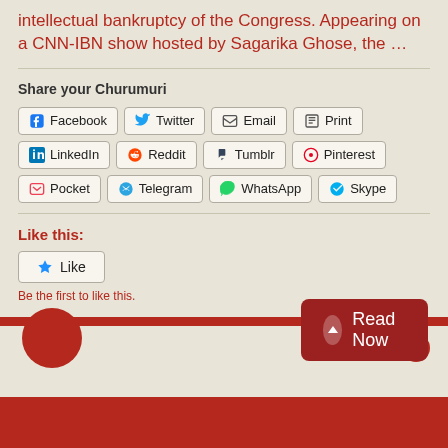intellectual bankruptcy of the Congress. Appearing on a CNN-IBN show hosted by Sagarika Ghose, the …
Share your Churumuri
Facebook Twitter Email Print LinkedIn Reddit Tumblr Pinterest Pocket Telegram WhatsApp Skype
Like this:
Like
Be the first to like this.
Read Now